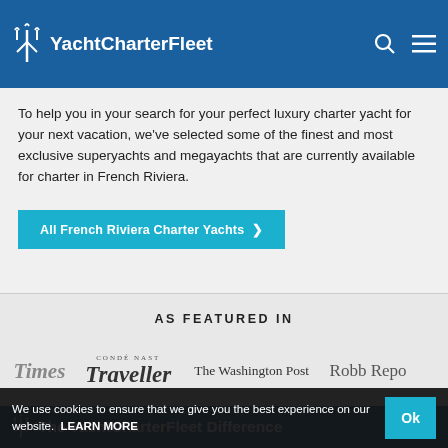YachtCharterFleet
To help you in your search for your perfect luxury charter yacht for your next vacation, we've selected some of the finest and most exclusive superyachts and megayachts that are currently available for charter in French Riviera.
All French Riviera Charter Yachts ❯
AS FEATURED IN
[Figure (logo): Times logo (partial)]
[Figure (logo): Condé Nast Traveller logo]
[Figure (logo): The Washington Post logo]
[Figure (logo): Robb Report logo (partial)]
The YachtCharterFleet Difference
We use cookies to ensure that we give you the best experience on our website.  LEARN MORE